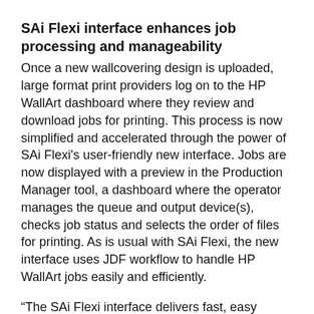SAi Flexi interface enhances job processing and manageability
Once a new wallcovering design is uploaded, large format print providers log on to the HP WallArt dashboard where they review and download jobs for printing. This process is now simplified and accelerated through the power of SAi Flexi's user-friendly new interface. Jobs are now displayed with a preview in the Production Manager tool, a dashboard where the operator manages the queue and output device(s), checks job status and selects the order of files for printing. As is usual with SAi Flexi, the new interface uses JDF workflow to handle HP WallArt jobs easily and efficiently.
“The SAi Flexi interface delivers fast, easy workflow management with the assurance of smooth, high-speed RIPing for WallArt users,” said Gudrun Bonte, Product Director, SAi. “The interface is the latest solution of our continued